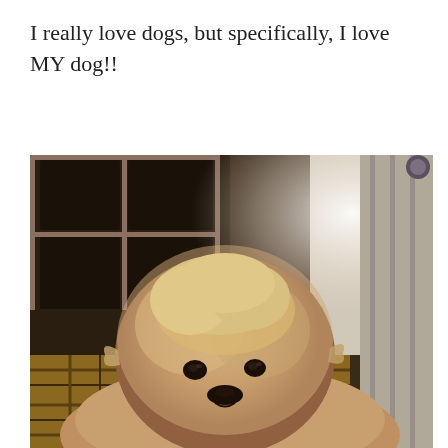I really love dogs, but specifically, I love MY dog!!
[Figure (photo): A fluffy light-brown small dog (appears to be a Maltipoo or similar breed) resting its head on a plaid blanket, with a window and curtain visible in the background. Photo taken from a low angle looking up at the dog.]